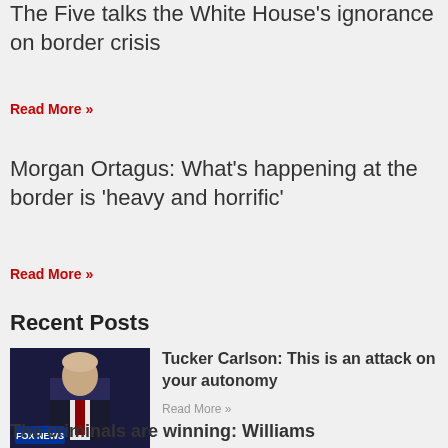The Five talks the White House's ignorance on border crisis
Read More »
Morgan Ortagus: What's happening at the border is 'heavy and horrific'
Read More »
Recent Posts
[Figure (photo): Thumbnail image of Tucker Carlson on Fox News set with blue background and Fox News logo]
Tucker Carlson: This is an attack on your autonomy
Read More »
The criminals are winning: Williams